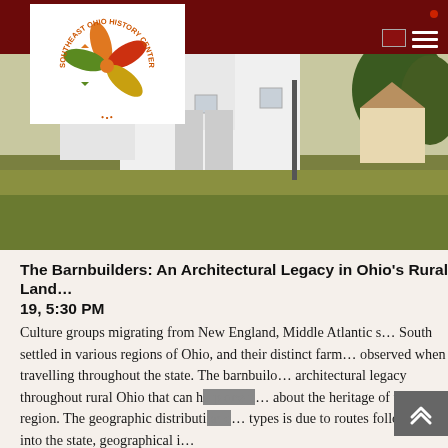[Figure (photo): Southeast Ohio History Center logo — a colorful pinwheel/star in orange, red, green, yellow with text around a circle reading 'SOUTHEAST OHIO HISTORY CENTER']
[Figure (photo): Photograph of a large white barn or historic building with green/brown grass in the foreground and trees in the background]
The Barnbuilders: An Architectural Legacy in Ohio's Rural Land… 19, 5:30 PM
Culture groups migrating from New England, Middle Atlantic s… South settled in various regions of Ohio, and their distinct farm… observed when travelling throughout the state. The barnbuilo… architectural legacy throughout rural Ohio that can help one u… about the heritage of the region. The geographic distribution o… types is due to routes followed into the state, geographical i…